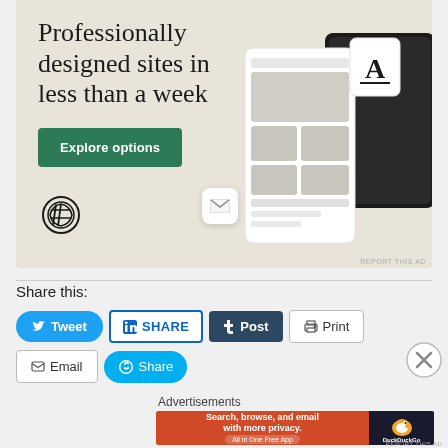[Figure (infographic): WordPress advertisement banner with beige/cream background. Large serif headline reads 'Professionally designed sites in less than a week', a green 'Explore options' button, WordPress logo, and mockup screens of websites on the right side. 'REPORT THIS AD' text at bottom right.]
Share this:
[Figure (infographic): Social share buttons row 1: blue rounded Tweet button with Twitter bird icon, LinkedIn SHARE button with LinkedIn icon, dark navy Post button with Tumblr 't' icon, Print button with printer icon]
[Figure (infographic): Social share buttons row 2: Email button with envelope icon, light blue rounded Skype Share button with Skype icon. Close X circle button on far right.]
Advertisements
[Figure (infographic): DuckDuckGo advertisement banner: orange/red left section with text 'Search, browse, and email with more privacy. All in One Free App', dark right section with DuckDuckGo duck logo and 'DuckDuckGo' text. REPORT THIS AD at bottom right.]